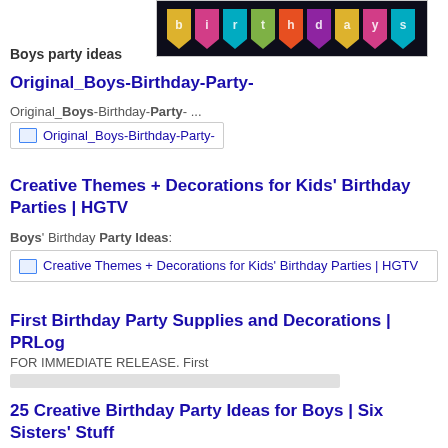[Figure (photo): Dark background image with colorful birthday party banner/bunting flags at top of page]
Boys party ideas
Original_Boys-Birthday-Party-
Original_Boys-Birthday-Party- ...
[Figure (screenshot): Thumbnail image link for Original_Boys-Birthday-Party-]
Creative Themes + Decorations for Kids' Birthday Parties | HGTV
Boys' Birthday Party Ideas:
[Figure (screenshot): Thumbnail image link for Creative Themes + Decorations for Kids' Birthday Parties | HGTV]
First Birthday Party Supplies and Decorations | PRLog
FOR IMMEDIATE RELEASE. First
[Figure (other): Gray placeholder image bar]
25 Creative Birthday Party Ideas for Boys | Six Sisters' Stuff